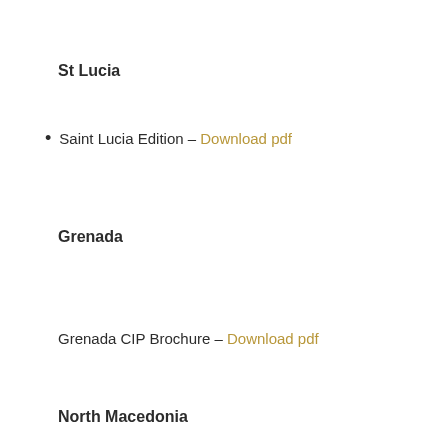St Lucia
Saint Lucia Edition – Download pdf
Grenada
Grenada CIP Brochure – Download pdf
North Macedonia
CIP Brochure – Download pdf